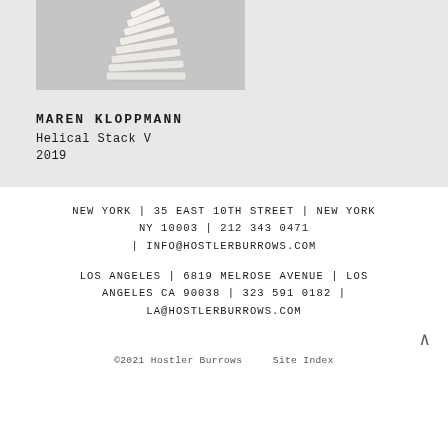[Figure (photo): Close-up photograph of white ceramic or paper helical stacked sculpture against light grey background]
MAREN KLOPPMANN
Helical Stack V
2019
NEW YORK  |  35 EAST 10TH STREET  |  NEW YORK NY 10003  |  212 343 0471  |  INFO@HOSTLERBURROWS.COM
LOS ANGELES  |  6819 MELROSE AVENUE  |  LOS ANGELES CA 90038  |  323 591 0182  |  LA@HOSTLERBURROWS.COM
©2021 Hostler Burrows    Site Index